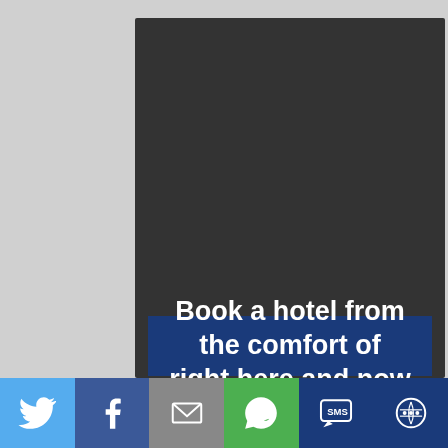[Figure (logo): Web Hosting Solution logo: large blue bold 'Web' text above 'Hosting' in blue, with 'SOLUTION' in black italic bold at bottom right, on white background with faint server watermark]
Book a hotel from the comfort of right here and now
[Figure (infographic): Social sharing bar with Twitter (blue), Facebook (dark blue), Email (grey), WhatsApp (green), SMS (dark blue), and share (dark blue) icons]